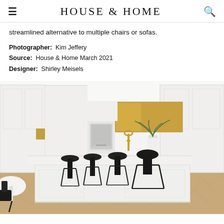HOUSE & HOME
streamlined alternative to multiple chairs or sofas.
Photographer: Kim Jeffery
Source: House & Home March 2021
Designer: Shirley Meisels
[Figure (photo): A bright white kitchen with a large island topped with white stone, four black bar stools, a gold/brass backsplash panel, white built-in cabinetry, a white wall oven, a brass faucet, a white vase with green plant, and herringbone wood flooring. A round white table and black chair are visible on the left.]